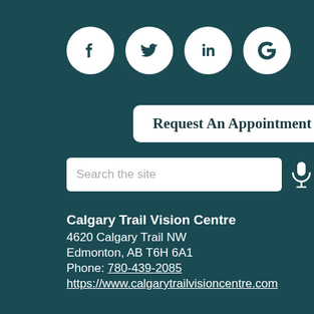[Figure (other): Social media icons: Facebook, Twitter, LinkedIn, Google — white circles on dark teal background]
Request An Appointment
[Figure (other): Search bar with placeholder text 'Search the site' and a microphone icon]
Calgary Trail Vision Centre
4620 Calgary Trail NW
Edmonton, AB T6H 6A1
Phone: 780-439-2085
https://www.calgarytrailvisioncentre.com